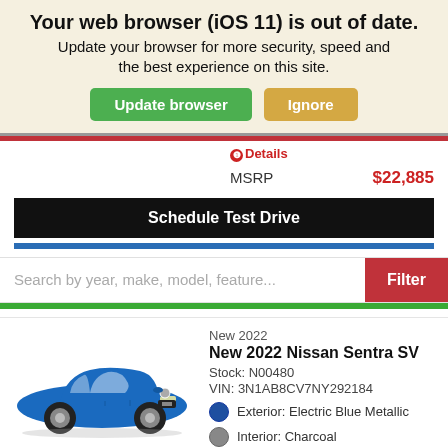Your web browser (iOS 11) is out of date. Update your browser for more security, speed and the best experience on this site.
Update browser | Ignore
❶Details
MSRP   $22,885
Schedule Test Drive
Search by year, make, model, feature...   Filter
New 2022
New 2022 Nissan Sentra SV
Stock: N00480
VIN: 3N1AB8CV7NY292184
Exterior: Electric Blue Metallic
Interior: Charcoal
[Figure (photo): Blue 2022 Nissan Sentra SV sedan, front 3/4 view]